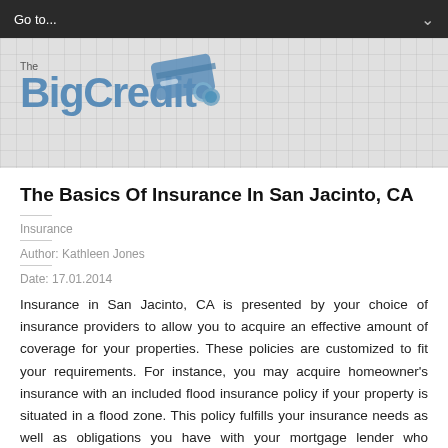Go to...
[Figure (logo): The BigCredit logo with credit card and coin icons in blue on a grid-pattern grey background]
The Basics Of Insurance In San Jacinto, CA
Insurance
Author: Kathleen Jones
Date: 17.01.2014
Insurance in San Jacinto, CA is presented by your choice of insurance providers to allow you to acquire an effective amount of coverage for your properties. These policies are customized to fit your requirements. For instance, you may acquire homeowner's insurance with an included flood insurance policy if your property is situated in a flood zone. This policy fulfills your insurance needs as well as obligations you have with your mortgage lender who requires that you